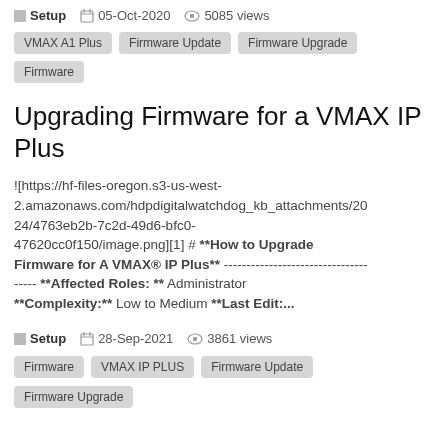Setup  05-Oct-2020  5085 views
VMAX A1 Plus
Firmware Update
Firmware Upgrade
Firmware
Upgrading Firmware for a VMAX IP Plus
![https://hf-files-oregon.s3-us-west-2.amazonaws.com/hdpdigitalwatchdog_kb_attachments/2024/4763eb2b-7c2d-49d6-bfc0-47620cc0f150/image.png][1] # **How to Upgrade Firmware for A VMAX® IP Plus** --------------------------------- **Affected Roles: ** Administrator **Complexity:** Low to Medium **Last Edit:...
Setup  28-Sep-2021  3861 views
Firmware
VMAX IP PLUS
Firmware Update
Firmware Upgrade